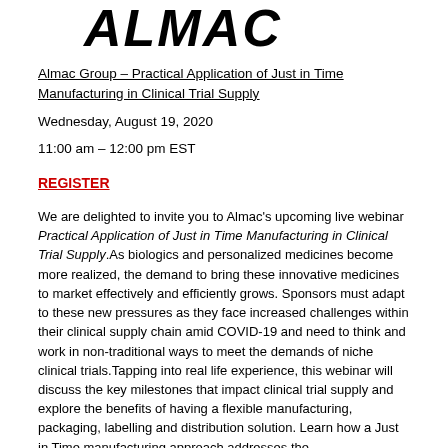[Figure (logo): ALMAC logo in bold stylized letters at top of page]
Almac Group – Practical Application of Just in Time Manufacturing in Clinical Trial Supply
Wednesday, August 19, 2020
11:00 am – 12:00 pm EST
REGISTER
We are delighted to invite you to Almac's upcoming live webinar Practical Application of Just in Time Manufacturing in Clinical Trial Supply.As biologics and personalized medicines become more realized, the demand to bring these innovative medicines to market effectively and efficiently grows. Sponsors must adapt to these new pressures as they face increased challenges within their clinical supply chain amid COVID-19 and need to think and work in non-traditional ways to meet the demands of niche clinical trials.Tapping into real life experience, this webinar will discuss the key milestones that impact clinical trial supply and explore the benefits of having a flexible manufacturing, packaging, labelling and distribution solution. Learn how a Just in Time manufacturing approach addresses the